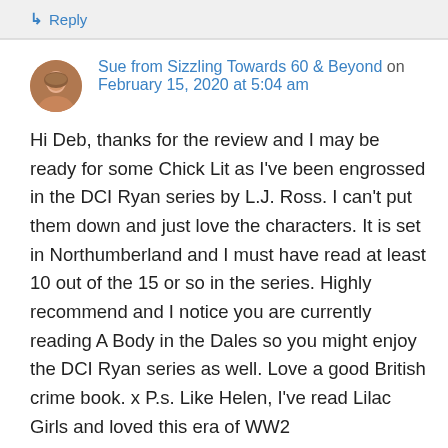↳ Reply
Sue from Sizzling Towards 60 & Beyond on February 15, 2020 at 5:04 am
Hi Deb, thanks for the review and I may be ready for some Chick Lit as I've been engrossed in the DCI Ryan series by L.J. Ross. I can't put them down and just love the characters. It is set in Northumberland and I must have read at least 10 out of the 15 or so in the series. Highly recommend and I notice you are currently reading A Body in the Dales so you might enjoy the DCI Ryan series as well. Love a good British crime book. x P.s. Like Helen, I've read Lilac Girls and loved this era of WW2